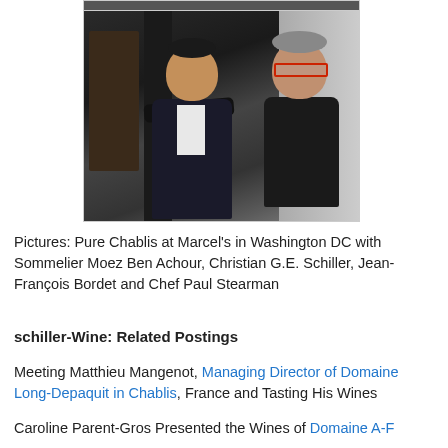[Figure (photo): Photo of two men posing together indoors, one in a dark suit with white shirt, the other wearing red glasses and a dark jacket. Dark column/pillar visible in background.]
Pictures: Pure Chablis at Marcel's in Washington DC with Sommelier Moez Ben Achour, Christian G.E. Schiller, Jean-François Bordet and Chef Paul Stearman
schiller-Wine: Related Postings
Meeting Matthieu Mangenot, Managing Director of Domaine Long-Depaquit in Chablis, France and Tasting His Wines
Caroline Parent-Gros Presented the Wines of Domaine A-F